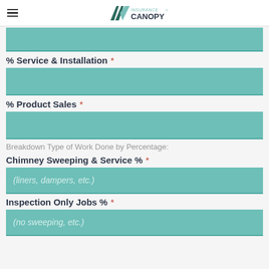Insurance Canopy
% Service & Installation *
% Product Sales *
Breakdown Type of Work Done by Percentage:
Chimney Sweeping & Service % *
(liners, dampers, etc.)
Inspection Only Jobs % *
(no sweeping, etc.)